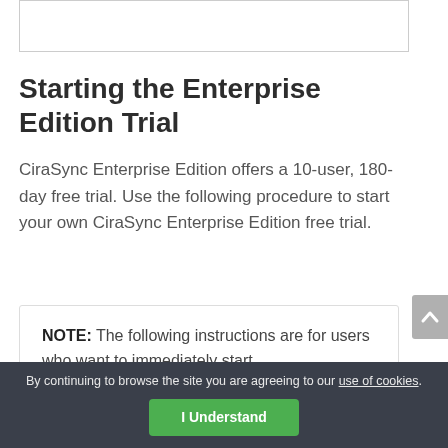[Figure (other): Top image/banner bar (white rectangle with border)]
Starting the Enterprise Edition Trial
CiraSync Enterprise Edition offers a 10-user, 180-day free trial. Use the following procedure to start your own CiraSync Enterprise Edition free trial.
NOTE: The following instructions are for users who want to immediately start
By continuing to browse the site you are agreeing to our use of cookies. I Understand